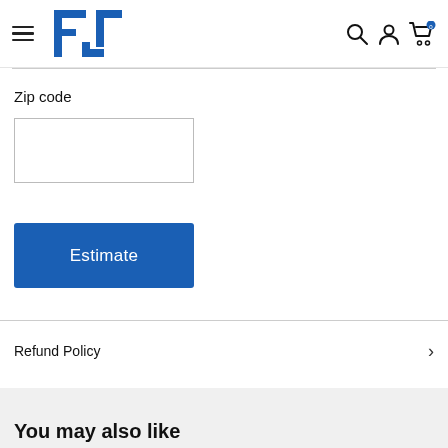FJ (logo), hamburger menu, search, account, cart with 0 items
Zip code
[Figure (screenshot): Empty zip code text input field]
Estimate
Refund Policy
You may also like